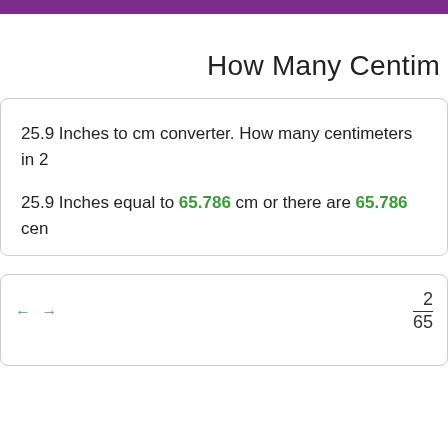How Many Centim
25.9 Inches to cm converter. How many centimeters in 2
25.9 Inches equal to 65.786 cm or there are 65.786 cen
← → 25.9 / 65